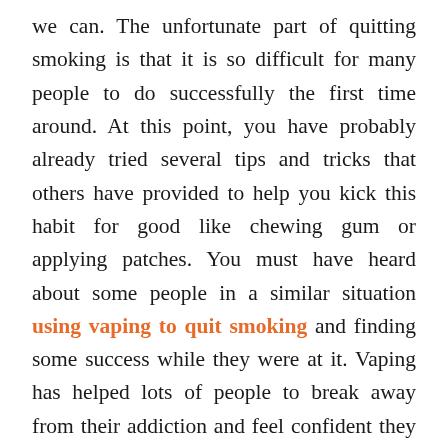we can. The unfortunate part of quitting smoking is that it is so difficult for many people to do successfully the first time around. At this point, you have probably already tried several tips and tricks that others have provided to help you kick this habit for good like chewing gum or applying patches. You must have heard about some people in a similar situation using vaping to quit smoking and finding some success while they were at it. Vaping has helped lots of people to break away from their addiction and feel confident they can continue going without smoking anymore. Vaping can be a great tool to help support your commitment to quitting cigarettes. If you are hoping this could be a good route to take in your journey to quitting, we have some thoughts that might help you to get an idea of how you can try using vaping to quit smoking successfully.